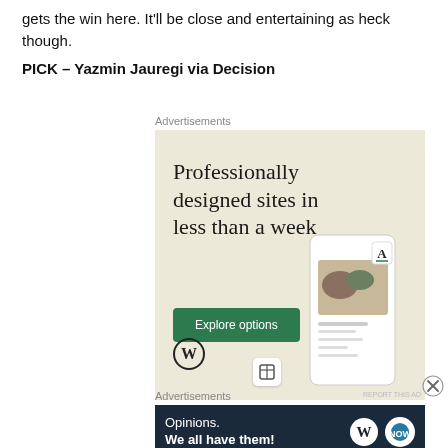gets the win here. It'll be close and entertaining as heck though.
PICK – Yazmin Jauregi via Decision
[Figure (screenshot): WordPress advertisement: 'Professionally designed sites in less than a week' with an Explore options button, WordPress logo, and phone mockup showing website designs on a beige background.]
[Figure (screenshot): WordPress banner advertisement: 'Opinions. We all have them!' on dark navy background with WordPress logo and a round button icon.]